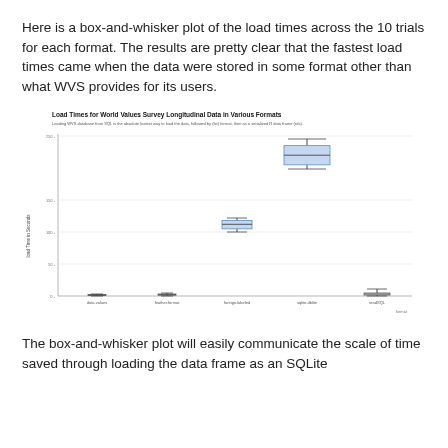Here is a box-and-whisker plot of the load times across the 10 trials for each format. The results are pretty clear that the fastest load times came when the data were stored in some format other than what WVS provides for its users.
[Figure (continuous-plot): Box-and-whisker plot showing load times in seconds for 5 data formats: data.values, feather.format, foreign.labeled, sqlite.dblite, readSQL. The rightmost box (sqlite.dblite) shows the highest median and range (~200-250s), foreign.labeled shows a medium box (~100-125s), while data.values, feather.format, and readSQL show very small boxes near 0s.]
The box-and-whisker plot will easily communicate the scale of time saved through loading the data frame as an SQLite